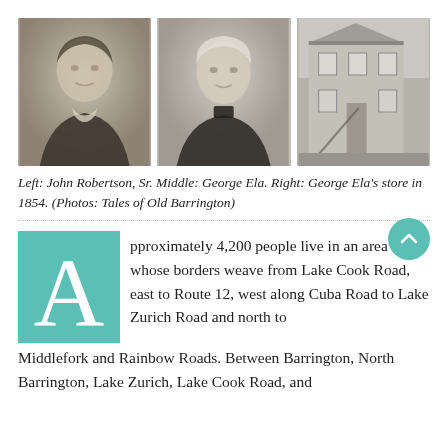[Figure (photo): Three black-and-white historical photographs side by side: left shows a portrait of John Robertson Sr., middle shows a portrait of George Ela, right shows George Ela's store building in 1854.]
Left: John Robertson, Sr. Middle: George Ela. Right: George Ela's store in 1854. (Photos: Tales of Old Barrington)
pproximately 4,200 people live in an area whose borders weave from Lake Cook Road, east to Route 12, west along Cuba Road to Lake Zurich Road and north to Middlefork and Rainbow Roads. Between Barrington, North Barrington, Lake Zurich, Lake Cook Road, and